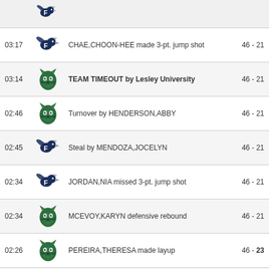| Time | Team | Action | Score |
| --- | --- | --- | --- |
|  | Framingham |  |  |
| 03:17 | Framingham | CHAE,CHOON-HEE made 3-pt. jump shot | 46 - 21 |
| 03:14 | Lesley | TEAM TIMEOUT by Lesley University | 46 - 21 |
| 02:46 | Lesley | Turnover by HENDERSON,ABBY | 46 - 21 |
| 02:45 | Framingham | Steal by MENDOZA,JOCELYN | 46 - 21 |
| 02:34 | Framingham | JORDAN,NIA missed 3-pt. jump shot | 46 - 21 |
| 02:34 | Lesley | MCEVOY,KARYN defensive rebound | 46 - 21 |
| 02:26 | Lesley | PEREIRA,THERESA made layup | 46 - 23 |
| 02:26 | Lesley | Assist by MCEVOY,KARYN | 46 - 23 |